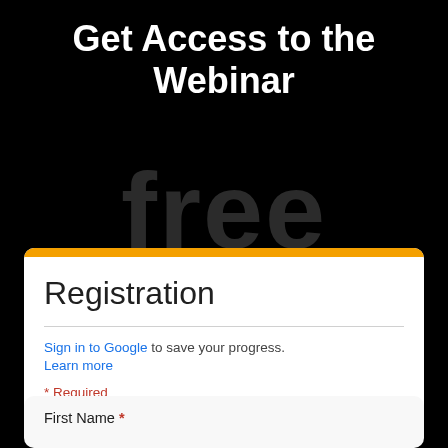Get Access to the Webinar
free
Registration
Sign in to Google to save your progress. Learn more
* Required
First Name *